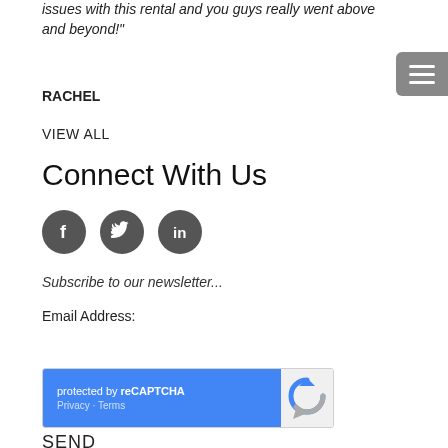issues with this rental and you guys really went above and beyond!"
RACHEL
VIEW ALL
Connect With Us
[Figure (illustration): Three circular social media icons (Facebook, Twitter, LinkedIn) in dark gray]
Subscribe to our newsletter...
Email Address:
[Figure (screenshot): Email address input field (empty text box) and reCAPTCHA widget showing 'protected by reCAPTCHA' with Privacy and Terms links on blue background, and reCAPTCHA logo on gray background]
SEND